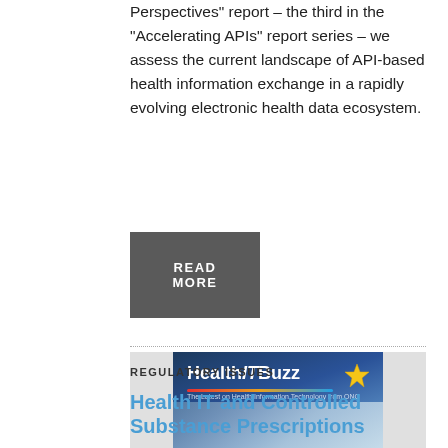Perspectives" report – the third in the "Accelerating APIs" report series – we assess the current landscape of API-based health information exchange in a rapidly evolving electronic health data ecosystem.
READ MORE
[Figure (screenshot): HealthITBuzz banner – dark blue background with keyboard photo, star logo, text 'HealthITBuzz – The Latest on Health Information Technology from ONC']
REGULATORY ISSUES
Health IT and Controlled Substance Prescriptions